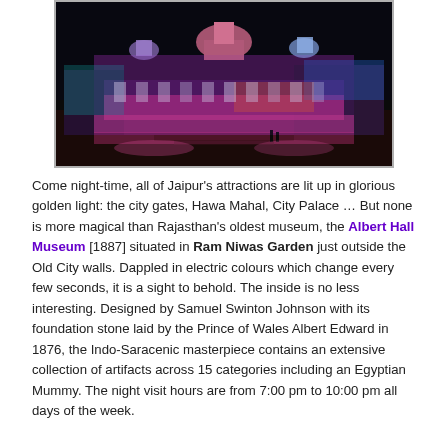[Figure (photo): Night-time photograph of Albert Hall Museum in Jaipur, India, illuminated with colourful electric lights in pink, blue, and orange against a dark sky.]
Come night-time, all of Jaipur's attractions are lit up in glorious golden light: the city gates, Hawa Mahal, City Palace … But none is more magical than Rajasthan's oldest museum, the Albert Hall Museum [1887] situated in Ram Niwas Garden just outside the Old City walls. Dappled in electric colours which change every few seconds, it is a sight to behold. The inside is no less interesting. Designed by Samuel Swinton Johnson with its foundation stone laid by the Prince of Wales Albert Edward in 1876, the Indo-Saracenic masterpiece contains an extensive collection of artifacts across 15 categories including an Egyptian Mummy. The night visit hours are from 7:00 pm to 10:00 pm all days of the week.